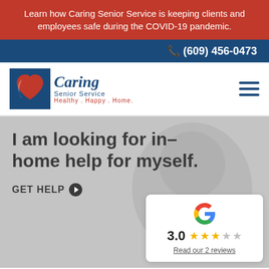Learn how Caring Senior Service is keeping clients and employees safe during the COVID-19 pandemic.
📞 (609) 456-0473
[Figure (logo): Caring Senior Service logo with red heart, blue background square, italic 'Caring' text, 'Senior Service' subtitle, and tagline 'Healthy . Happy . Home.']
I am looking for in-home help for myself.
GET HELP →
[Figure (infographic): Google review card showing the Google 'G' logo, a 3.0 star rating with 3 filled stars and 2 empty stars, and a link 'Read our 2 reviews']